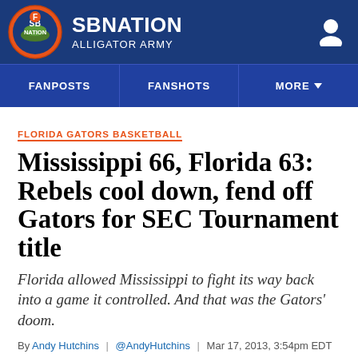SB NATION ALLIGATOR ARMY
FANPOSTS | FANSHOTS | MORE
FLORIDA GATORS BASKETBALL
Mississippi 66, Florida 63: Rebels cool down, fend off Gators for SEC Tournament title
Florida allowed Mississippi to fight its way back into a game it controlled. And that was the Gators' doom.
By Andy Hutchins | @AndyHutchins | Mar 17, 2013, 3:54pm EDT